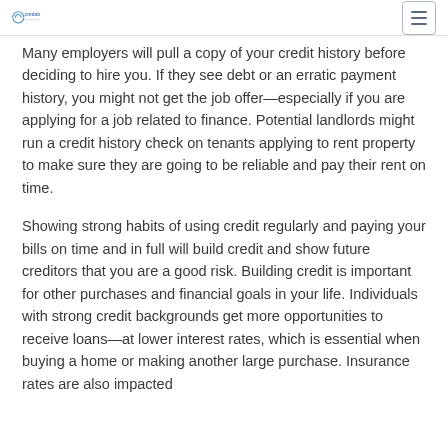credable - Make Every Payment Count
Many employers will pull a copy of your credit history before deciding to hire you. If they see debt or an erratic payment history, you might not get the job offer—especially if you are applying for a job related to finance. Potential landlords might run a credit history check on tenants applying to rent property to make sure they are going to be reliable and pay their rent on time.
Showing strong habits of using credit regularly and paying your bills on time and in full will build credit and show future creditors that you are a good risk. Building credit is important for other purchases and financial goals in your life. Individuals with strong credit backgrounds get more opportunities to receive loans—at lower interest rates, which is essential when buying a home or making another large purchase. Insurance rates are also impacted by credit; the better your credit, the lower...